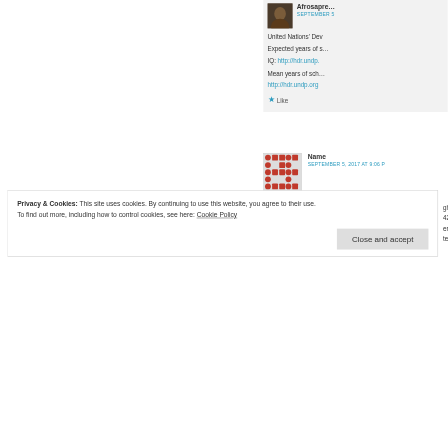Afrosapre... SEPTEMBER 5
United Nations' Dev
Expected years of ... IQ: http://hdr.undp...
Mean years of scho... http://hdr.undp.org
Like
Name SEPTEMBER 5, 2017 AT 9:06 P
Privacy & Cookies: This site uses cookies. By continuing to use this website, you agree to their use.
To find out more, including how to control cookies, see here: Cookie Policy
Close and accept